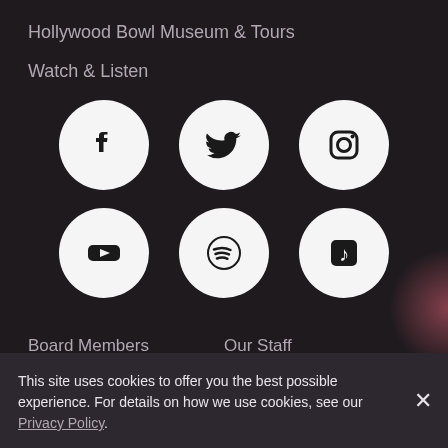Hollywood Bowl Museum & Tours
Watch & Listen
[Figure (infographic): Six social media icons in white circles on dark background: Facebook, Twitter, Instagram (top row), YouTube, Spotify, Apple Music (bottom row)]
Board Members
Our Staff
Careers
Equity, Diversity, and Inclusion
This site uses cookies to offer you the best possible experience. For details on how we use cookies, see our Privacy Policy.